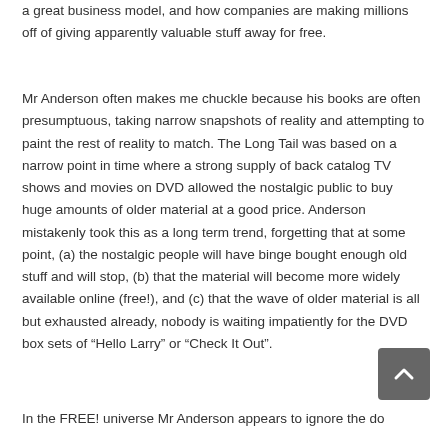a great business model, and how companies are making millions off of giving apparently valuable stuff away for free.

Mr Anderson often makes me chuckle because his books are often presumptuous, taking narrow snapshots of reality and attempting to paint the rest of reality to match. The Long Tail was based on a narrow point in time where a strong supply of back catalog TV shows and movies on DVD allowed the nostalgic public to buy huge amounts of older material at a good price. Anderson mistakenly took this as a long term trend, forgetting that at some point, (a) the nostalgic people will have binge bought enough old stuff and will stop, (b) that the material will become more widely available online (free!), and (c) that the wave of older material is all but exhausted already, nobody is waiting impatiently for the DVD box sets of “Hello Larry” or “Check It Out”.

In the FREE! universe Mr Anderson appears to ignore the do...